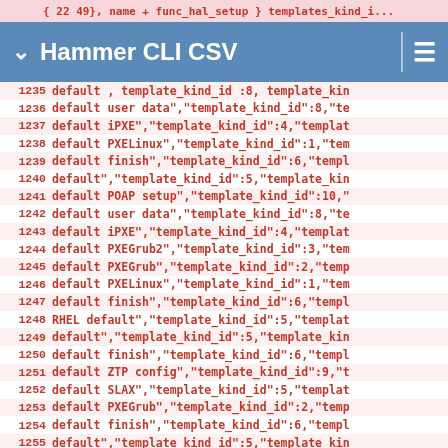{ 22 49}, name + func_hal_setup } templates_kind_id...
Hammer CLI CSV
1235 default , template_kind_id :8, template_kin
1236 default user data","template_kind_id":8,"te
1237 default iPXE","template_kind_id":4,"templat
1238 default PXELinux","template_kind_id":1,"tem
1239 default finish","template_kind_id":6,"templ
1240 default","template_kind_id":5,"template_kin
1241 default POAP setup","template_kind_id":10,"
1242 default user data","template_kind_id":8,"te
1243 default iPXE","template_kind_id":4,"templat
1244 default PXEGrub2","template_kind_id":3,"tem
1245 default PXEGrub","template_kind_id":2,"temp
1246 default PXELinux","template_kind_id":1,"tem
1247 default finish","template_kind_id":6,"templ
1248 RHEL default","template_kind_id":5,"templat
1249 default","template_kind_id":5,"template_kin
1250 default finish","template_kind_id":6,"templ
1251 default ZTP config","template_kind_id":9,"t
1252 default SLAX","template_kind_id":5,"templat
1253 default PXEGrub","template_kind_id":2,"temp
1254 default finish","template_kind_id":6,"templ
1255 default","template_kind_id":5,"template_kin
1256 default","template_kind_id":7,"template_kin
1257 (mfsBSD) PXELinux","template_kind_id":1,"te
1258 (mfsBSD) provision","template_kind_id":5,"t
1259 (mfsBSD) finish","template_kind_id":6,"temp
1260 PXELinux","template_kind_id":1,"template_ki